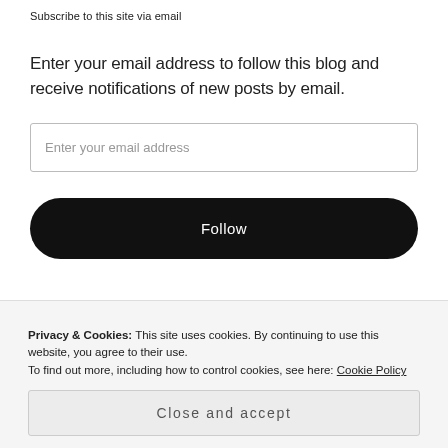Subscribe to this site via email
Enter your email address to follow this blog and receive notifications of new posts by email.
[Figure (screenshot): Email address input field with placeholder text 'Enter your email address']
[Figure (screenshot): Black rounded 'Follow' button]
Popular Posts This Week
Privacy & Cookies: This site uses cookies. By continuing to use this website, you agree to their use.
To find out more, including how to control cookies, see here: Cookie Policy
[Figure (screenshot): Close and accept button for cookie banner]